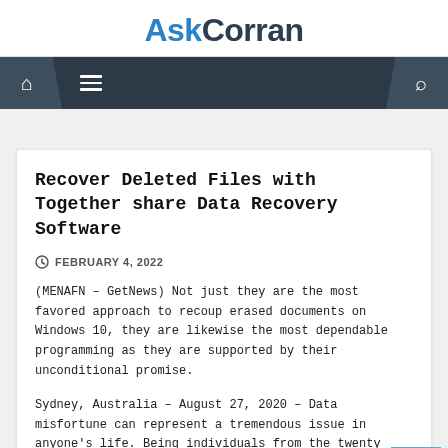AskCorran
Recover Deleted Files with Together share Data Recovery Software
FEBRUARY 4, 2022
(MENAFN - GetNews) Not just they are the most favored approach to recoup erased documents on Windows 10, they are likewise the most dependable programming as they are supported by their unconditional promise.
Sydney, Australia - August 27, 2020 - Data misfortune can represent a tremendous issue in anyone's life. Being individuals from the twenty first century, it's protected to state that